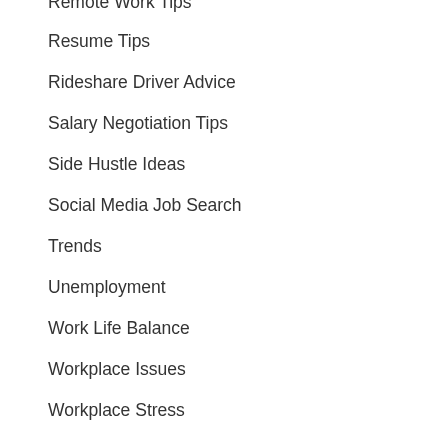Remote Work Tips
Resume Tips
Rideshare Driver Advice
Salary Negotiation Tips
Side Hustle Ideas
Social Media Job Search
Trends
Unemployment
Work Life Balance
Workplace Issues
Workplace Stress